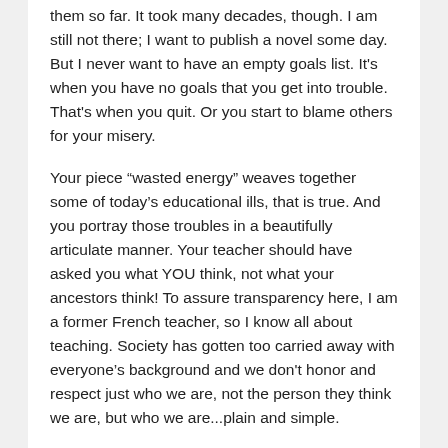them so far. It took many decades, though. I am still not there; I want to publish a novel some day. But I never want to have an empty goals list. It's when you have no goals that you get into trouble. That's when you quit. Or you start to blame others for your misery.
Your piece “wasted energy” weaves together some of today’s educational ills, that is true. And you portray those troubles in a beautifully articulate manner. Your teacher should have asked you what YOU think, not what your ancestors think! To assure transparency here, I am a former French teacher, so I know all about teaching. Society has gotten too carried away with everyone’s background and we don't honor and respect just who we are, not the person they think we are, but who we are...plain and simple.
A friend the other day relayed a story of her visit to Mexico for a vacation. People there actually